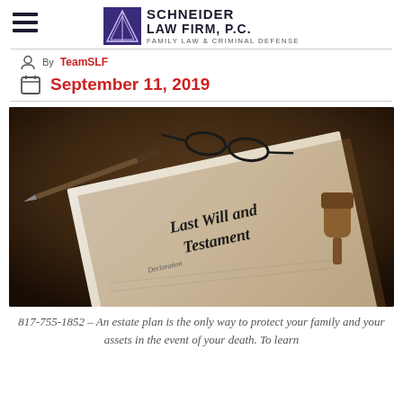Schneider Law Firm, P.C. — Family Law & Criminal Defense
By TeamSLF
September 11, 2019
[Figure (photo): A Last Will and Testament document on a dark surface with a fountain pen, eyeglasses, and a wooden gavel stamp. The document shows 'Last Will and Testament' in gothic lettering and 'Declaration' below it.]
817-755-1852 – An estate plan is the only way to protect your family and your assets in the event of your death. To learn